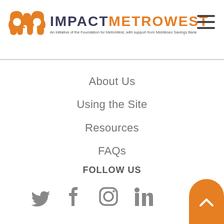[Figure (logo): Impact MetroWest logo with orange M icon and text. Tagline: An initiative of the Foundation for MetroWest, with support from Middlesex Savings Bank]
[Figure (other): Hamburger menu icon (three horizontal lines)]
About Us
Using the Site
Resources
FAQs
FOLLOW US
[Figure (other): Social media icons: Twitter, Facebook, Instagram, LinkedIn, and a back-to-top orange button with chevron]